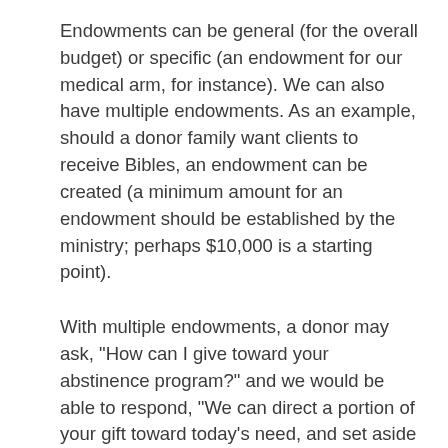Endowments can be general (for the overall budget) or specific (an endowment for our medical arm, for instance). We can also have multiple endowments. As an example, should a donor family want clients to receive Bibles, an endowment can be created (a minimum amount for an endowment should be established by the ministry; perhaps $10,000 is a starting point).
With multiple endowments, a donor may ask, "How can I give toward your abstinence program?" and we would be able to respond, "We can direct a portion of your gift toward today's need, and set aside a percentage of your gift in our Abstinence Initiative Endowment." This allows us to be more creative in building our resources; but more important, allows donors to be more involved in where their gifts go and how